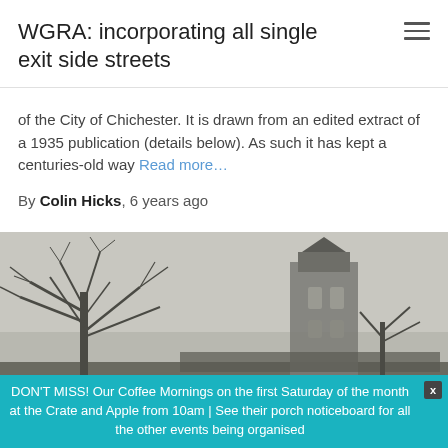WGRA: incorporating all single exit side streets
of the City of Chichester. It is drawn from an edited extract of a 1935 publication (details below). As such it has kept a centuries-old way Read more…
By Colin Hicks, 6 years ago
[Figure (photo): Black and white photograph of bare winter trees with a church tower or similar stone building in the background against an overcast sky.]
DON'T MISS! Our Coffee Mornings on the first Saturday of the month at the Crate and Apple from 10am | See their porch noticeboard for all the other events being organised